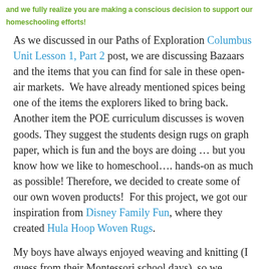and we fully realize you are making a conscious decision to support our homeschooling efforts!
As we discussed in our Paths of Exploration Columbus Unit Lesson 1, Part 2 post, we are discussing Bazaars and the items that you can find for sale in these open-air markets.  We have already mentioned spices being one of the items the explorers liked to bring back.  Another item the POE curriculum discusses is woven goods. They suggest the students design rugs on graph paper, which is fun and the boys are doing … but you know how we like to homeschool…. hands-on as much as possible! Therefore, we decided to create some of our own woven products!  For this project, we got our inspiration from Disney Family Fun, where they created Hula Hoop Woven Rugs.
My boys have always enjoyed weaving and knitting (I guess from their Montessori school days), so we decided to try this one!   I hope you enjoy reading about our project, but I hope you try it too!  Put a link to your post in our comments if you